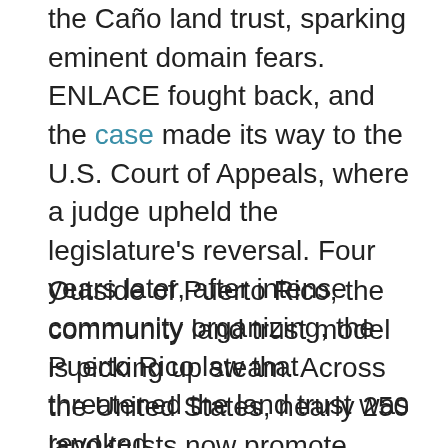the Caño land trust, sparking eminent domain fears. ENLACE fought back, and the case made its way to the U.S. Court of Appeals, where a judge upheld the legislature's reversal. Four years later, after intense community organizing, the Puerto Rico law that threatened the land trust was revoked.
Outside of Puerto Rico, the community land trust model is picking up steam. Across the United States, nearly 250 land trusts now promote equitable revitalization, according to ENLACE.